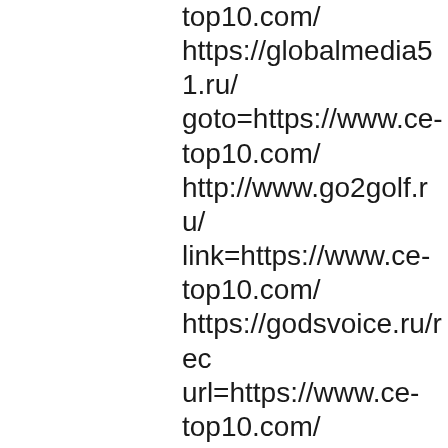top10.com/ https://globalmedia51.ru/goto=https://www.ce-top10.com/ http://www.go2golf.ru/link=https://www.ce-top10.com/ https://godsvoice.ru/redirect?url=https://www.ce-top10.com/ https://golden-resort.ru/out.php?out=https://